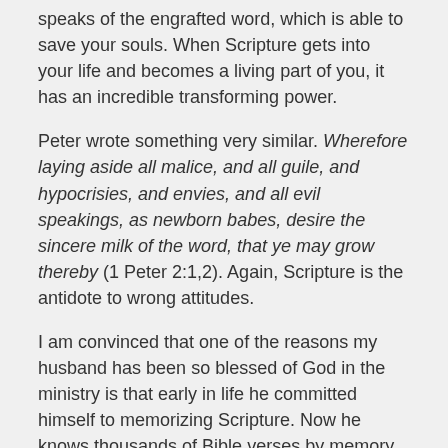speaks of the engrafted word, which is able to save your souls. When Scripture gets into your life and becomes a living part of you, it has an incredible transforming power.
Peter wrote something very similar. Wherefore laying aside all malice, and all guile, and hypocrisies, and envies, and all evil speakings, as newborn babes, desire the sincere milk of the word, that ye may grow thereby (1 Peter 2:1,2). Again, Scripture is the antidote to wrong attitudes.
I am convinced that one of the reasons my husband has been so blessed of God in the ministry is that early in life he committed himself to memorizing Scripture. Now he knows thousands of Bible verses by memory and is called “the walking Bible.” I am often asked what it is like to live with a man who has memorized so much Scripture. My answer is, “It is wonderful.” God’s Word is constantly working in Jack’s heart to guide him, mold him, shape his attitudes, and direct his life.
All this victory is the result of Jack’s tremendous desire, determination, and discipline-and it is an ongoing process. He